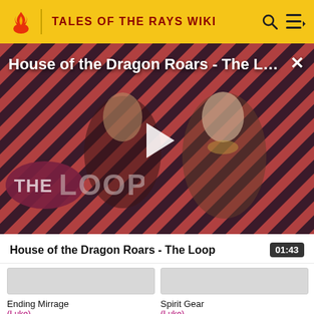TALES OF THE RAYS WIKI
[Figure (screenshot): Video thumbnail for 'House of the Dragon Roars - The Loop' with diagonal red and dark stripe background, two characters, a play button, and 'THE LOOP' logo overlay]
House of the Dragon Roars - The Loop  01:43
Ending Mirrage
(Luke)
Spirit Gear
(Luke)